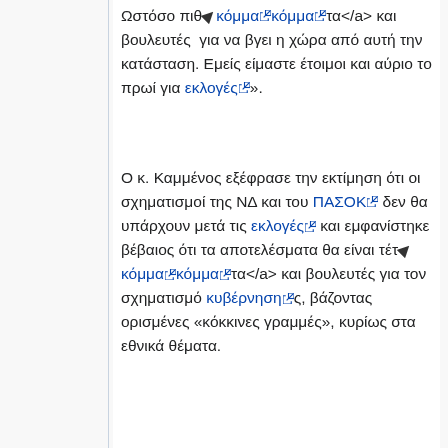Ωστόσο πιθ◆κόμμα🔗κόμμα🔗τα</a> και βουλευτές  για να βγει η χώρα από αυτή την κατάσταση. Εμείς είμαστε έτοιμοι και αύριο το πρωί για εκλογές🔗».
Ο κ. Καμμένος εξέφρασε την εκτίμηση ότι οι σχηματισμοί της ΝΔ και του ΠΑΣΟΚ🔗 δεν θα υπάρχουν μετά τις εκλογές🔗 και εμφανίστηκε βέβαιος ότι τα αποτελέσματα θα είναι τέτ◆κόμμα🔗κόμμα🔗τα</a> και βουλευτές για τον σχηματισμό κυβέρνηση🔗ς, βάζοντας ορισμένες «κόκκινες γραμμές», κυρίως στα εθνικά θέματα.